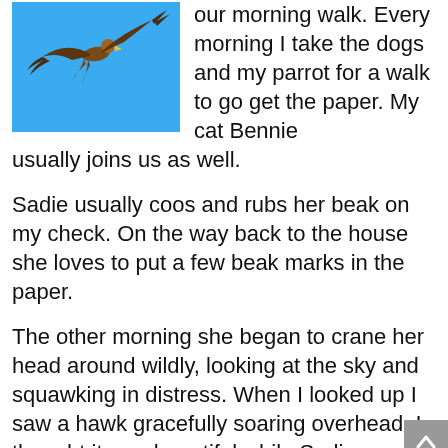[Figure (photo): A hawk or bird of prey soaring in a clear blue sky, photographed from below]
our morning walk. Every morning I take the dogs and my parrot for a walk to go get the paper. My cat Bennie usually joins us as well.
Sadie usually coos and rubs her beak on my check. On the way back to the house she loves to put a few beak marks in the paper.
The other morning she began to crane her head around wildly, looking at the sky and squawking in distress. When I looked up I saw a hawk gracefully soaring overhead. I thought it was beautiful while Sadie was afraid she might be somebodies dinner.
I was amazed at her instincts. She is 21 years old and when I adopted her from the parrot sanctuary her wings were clipped. When I told the woman who ran the sanctuary I would let